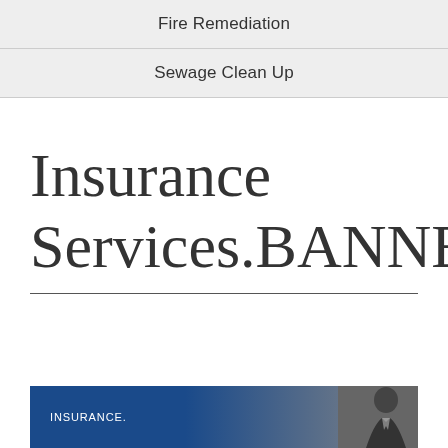Fire Remediation
Sewage Clean Up
Insurance Services.BANNER6.Fw
[Figure (photo): Banner image with blue background showing the word INSURANCE and a silhouette of a person in a suit]